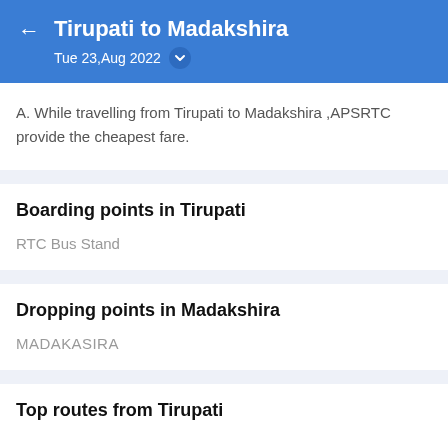Tirupati to Madakshira | Tue 23,Aug 2022
A. While travelling from Tirupati to Madakshira ,APSRTC provide the cheapest fare.
Boarding points in Tirupati
RTC Bus Stand
Dropping points in Madakshira
MADAKASIRA
Top routes from Tirupati